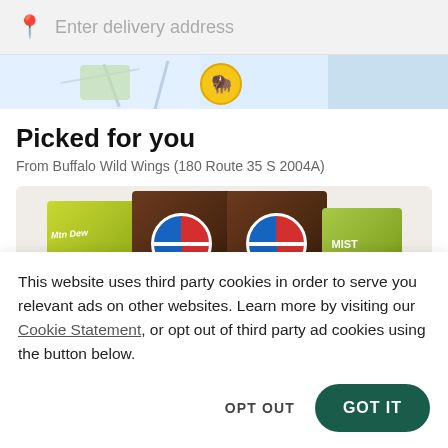[Figure (screenshot): Search bar with location pin icon and 'Enter delivery address' placeholder text, followed by a map strip showing a Buffalo Wild Wings logo marker on a light blue map background, followed by 'Picked for you' section with drink cups photo]
Picked for you
From Buffalo Wild Wings (180 Route 35 S 2004A)
This website uses third party cookies in order to serve you relevant ads on other websites. Learn more by visiting our Cookie Statement, or opt out of third party ad cookies using the button below.